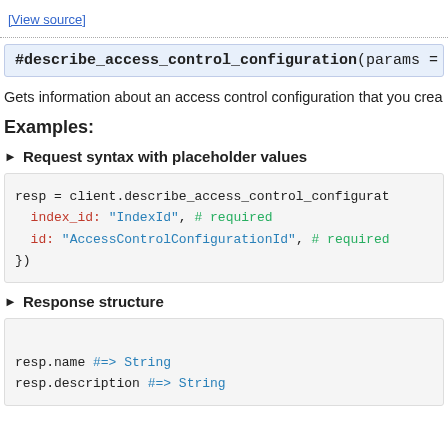[View source]
#describe_access_control_configuration(params = {})
Gets information about an access control configuration that you crea
Examples:
► Request syntax with placeholder values
resp = client.describe_access_control_configurat
    index_id: "IndexId", # required
    id: "AccessControlConfigurationId", # required
})
► Response structure
resp.name #=> String
resp.description #=> String